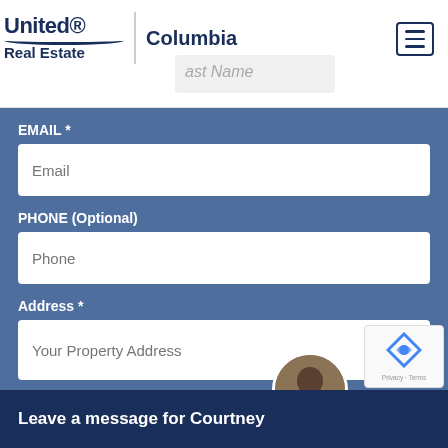[Figure (logo): United Real Estate Columbia logo with navigation hamburger menu]
EMAIL *
Email
PHONE (Optional)
Phone
Address *
Your Property Address
Comments *
Please add your comments h...
Leave a message for Courtney